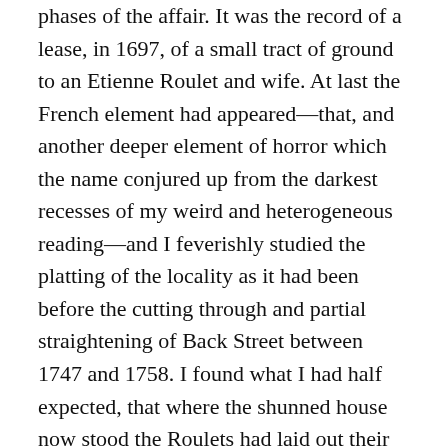phases of the affair. It was the record of a lease, in 1697, of a small tract of ground to an Etienne Roulet and wife. At last the French element had appeared—that, and another deeper element of horror which the name conjured up from the darkest recesses of my weird and heterogeneous reading—and I feverishly studied the platting of the locality as it had been before the cutting through and partial straightening of Back Street between 1747 and 1758. I found what I had half expected, that where the shunned house now stood the Roulets had laid out their graveyard behind a one-story and attic cottage, and that no record of any transfer of graves existed. The document, indeed, ended in much confusion; and I was forced to ransack both the Rhode Island Historical Society and Shepley Library before I could find a local door which the name Etienne Roulet would unlock. In the end I did find something; something of such vague but monstrous import